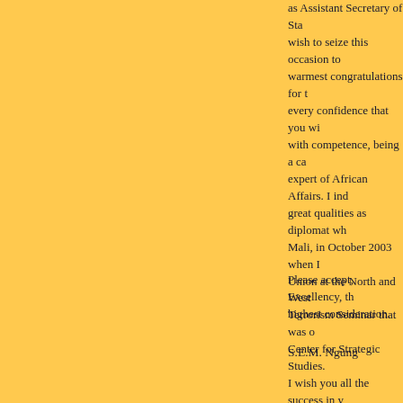as Assistant Secretary of State, wish to seize this occasion to offer warmest congratulations for the every confidence that you will with competence, being a capable expert of African Affairs. I indeed great qualities as diplomat when Mali, in October 2003 when I Union at the North and West Terrorism Seminar that was Center for Strategic Studies. I wish you all the success in y
Please accept, Excellency, the highest consideration.
S.E.M. Ngung
H.E. Ambassador Johnnie Ca
Assistant Secretary of State f
State Department
Washington, DC
Posted by: Sylain E.M. Ngung A...